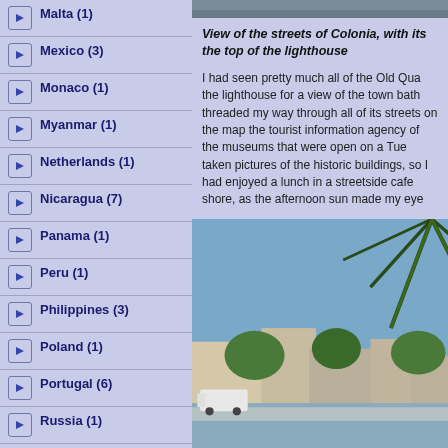Malta (1)
Mexico (3)
Monaco (1)
Myanmar (1)
Netherlands (1)
Nicaragua (7)
Panama (1)
Peru (1)
Philippines (3)
Poland (1)
Portugal (6)
Russia (1)
Caribbean Netherlands (5)
Saint Martin (1)
Scotland (1)
Singapore (4)
Sint Maarten (1)
[Figure (photo): Partial view of a coastal town, top strip visible at top of right column]
View of the streets of Colonia, with its the top of the lighthouse
I had seen pretty much all of the Old Qua the lighthouse for a view of the town bath threaded my way through all of its streets on the map the tourist information agency of the museums that were open on a Tue taken pictures of the historic buildings, so I had enjoyed a lunch in a streetside cafe shore, as the afternoon sun made my eye
[Figure (photo): View of a coastal town with palm tree fronds in foreground, blue sky, buildings and waterfront visible]